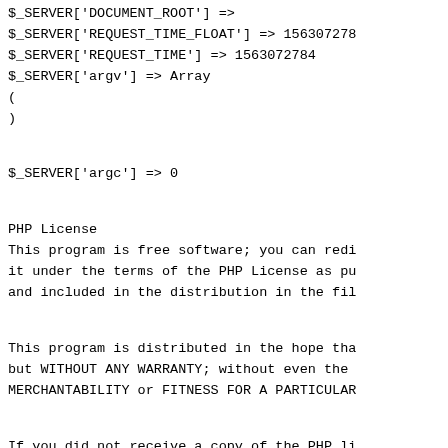$_SERVER['DOCUMENT_ROOT'] =>
$_SERVER['REQUEST_TIME_FLOAT'] => 156307278
$_SERVER['REQUEST_TIME'] => 1563072784
$_SERVER['argv'] => Array
(
)
$_SERVER['argc'] => 0
PHP License
This program is free software; you can redi
it under the terms of the PHP License as pu
and included in the distribution in the fil
This program is distributed in the hope tha
but WITHOUT ANY WARRANTY; without even the
MERCHANTABILITY or FITNESS FOR A PARTICULAR
If you did not receive a copy of the PHP li
continue about PHP License here...